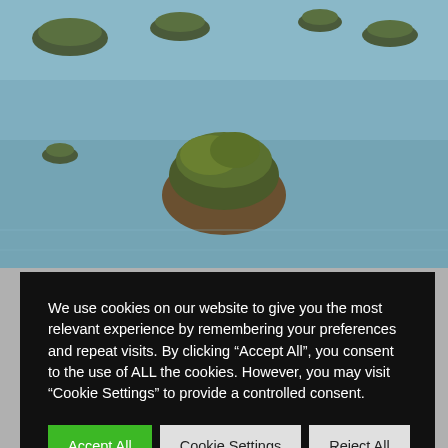[Figure (photo): Aerial view of small green islands in calm blue-grey water]
We use cookies on our website to give you the most relevant experience by remembering your preferences and repeat visits. By clicking “Accept All”, you consent to the use of ALL the cookies. However, you may visit “Cookie Settings” to provide a controlled consent.
Accept All | Cookie Settings | Reject All
hours
The challenges of legacy architecture (and what to do about it)
Getting Past Greenwashing: Measuring What Really Matters